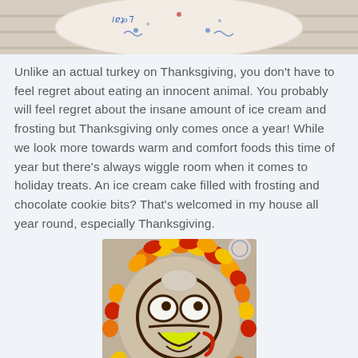[Figure (photo): Top portion of a Thanksgiving-themed ice cream cake with decorative plate design, partially cropped at top of page]
Unlike an actual turkey on Thanksgiving, you don't have to feel regret about eating an innocent animal. You probably will feel regret about the insane amount of ice cream and frosting but Thanksgiving only comes once a year! While we look more towards warm and comfort foods this time of year but there's always wiggle room when it comes to holiday treats. An ice cream cake filled with frosting and chocolate cookie bits? That's welcomed in my house all year round, especially Thanksgiving.
[Figure (photo): Close-up photo of a Thanksgiving turkey-shaped ice cream cake with colorful orange, red, and yellow frosting feathers around the border, a cartoon turkey face in the center with white frosting eyes, chocolate outline, and yellow beak detail]